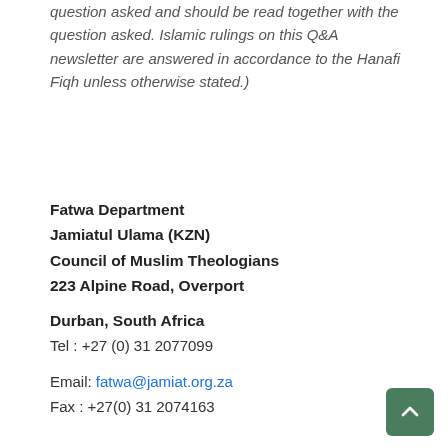question asked and should be read together with the question asked. Islamic rulings on this Q&A newsletter are answered in accordance to the Hanafi Fiqh unless otherwise stated.)
Fatwa Department
Jamiatul Ulama (KZN)
Council of Muslim Theologians
223 Alpine Road, Overport

Durban, South Africa
Tel : +27 (0) 31 2077099

Email: fatwa@jamiat.org.za
Fax : +27(0) 31 2074163